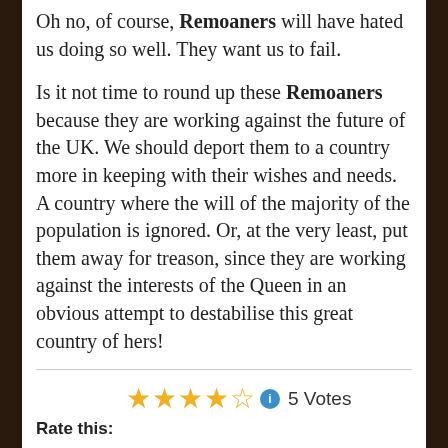Oh no, of course, Remoaners will have hated us doing so well. They want us to fail.
Is it not time to round up these Remoaners because they are working against the future of the UK. We should deport them to a country more in keeping with their wishes and needs. A country where the will of the majority of the population is ignored. Or, at the very least, put them away for treason, since they are working against the interests of the Queen in an obvious attempt to destabilise this great country of hers!
Rate this: ★★★★★½ ℹ 5 Votes
Share this (please):